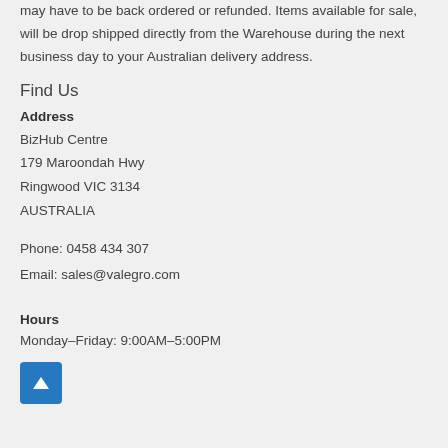may have to be back ordered or refunded. Items available for sale, will be drop shipped directly from the Warehouse during the next business day to your Australian delivery address.
Find Us
Address
BizHub Centre
179 Maroondah Hwy
Ringwood VIC 3134
AUSTRALIA
Phone: 0458 434 307
Email: sales@valegro.com
Hours
Monday–Friday: 9:00AM–5:00PM